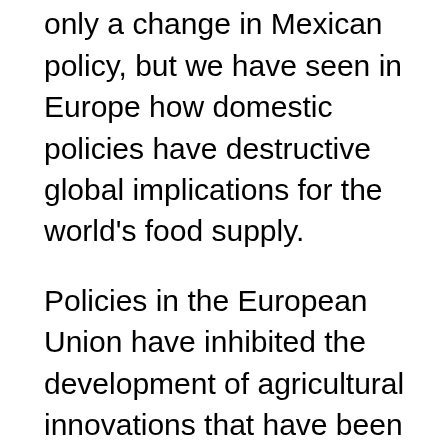suggest his can reflects only a change in Mexican policy, but we have seen in Europe how domestic policies have destructive global implications for the world's food supply.
Policies in the European Union have inhibited the development of agricultural innovations that have been approved by the U.S. Environmental Protection Agency and other global regulatory bodies. Trade in U.S. agricultural products has also been disrupted by these EU policies. We urge you not to allow these types of precautionary policies to